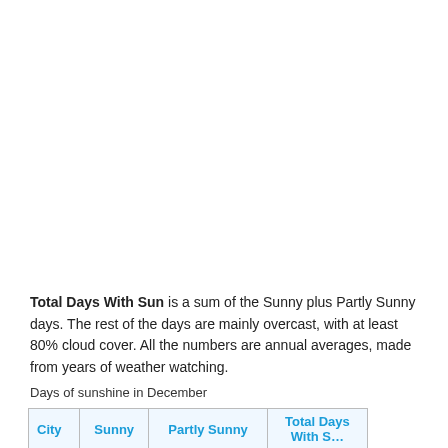Total Days With Sun is a sum of the Sunny plus Partly Sunny days. The rest of the days are mainly overcast, with at least 80% cloud cover. All the numbers are annual averages, made from years of weather watching.
Days of sunshine in December
| City | Sunny | Partly Sunny | Total Days With Sun |
| --- | --- | --- | --- |